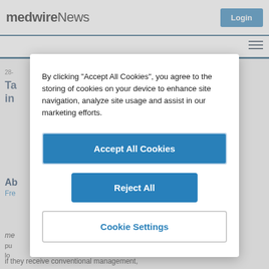medwireNews | Login
By clicking “Accept All Cookies”, you agree to the storing of cookies on your device to enhance site navigation, analyze site usage and assist in our marketing efforts.
Accept All Cookies
Reject All
Cookie Settings
28-
Ta... in...
Ab...
Fre...
me...
pu... lo...
if they receive conventional management,